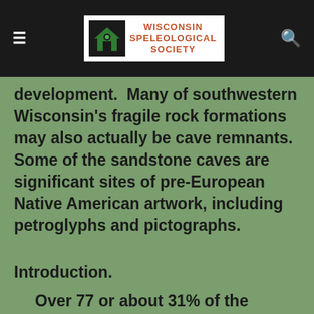Wisconsin Speleological Society
development.  Many of southwestern Wisconsin's fragile rock formations may also actually be cave remnants.  Some of the sandstone caves are significant sites of pre-European Native American artwork, including petroglyphs and pictographs.
Introduction.
Over 77 or about 31% of the